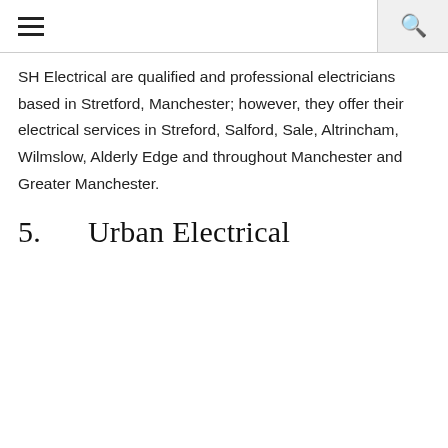SH Electrical are qualified and professional electricians based in Stretford, Manchester; however, they offer their electrical services in Streford, Salford, Sale, Altrincham, Wilmslow, Alderly Edge and throughout Manchester and Greater Manchester.
5.      Urban Electrical